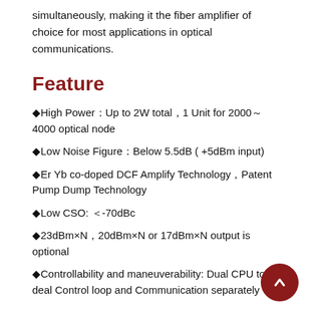simultaneously, making it the fiber amplifier of choice for most applications in optical communications.
Feature
◆High Power：Up to 2W total，1 Unit for 2000～4000 optical node
◆Low Noise Figure：Below 5.5dB ( +5dBm input)
◆Er Yb co-doped DCF Amplify Technology，Patent Pump Dump Technology
◆Low CSO: ＜-70dBc
◆23dBm×N，20dBm×N or 17dBm×N output is optional
◆Controllability and maneuverability: Dual CPU to deal Control loop and Communication separately